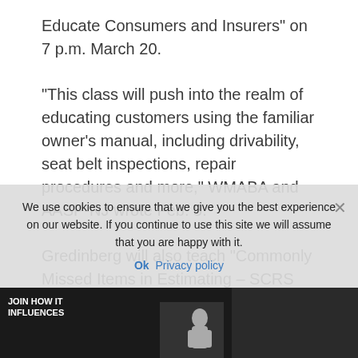Educate Consumers and Insurers” on 7 p.m. March 20.
“This class will push into the realm of educating customers using the familiar owner’s manual, including drivability, seat belt inspections, repair procedures and more,” WMABA and AASP-NJ wrote Feb. 5.
Gredinberg will also teach “Commonly Missed Items in Estimating – SCRS Blueprint Optimization Tool Utilization” at 10 a.m. on March 21. A course description indicates it will offer users information about the SCRS as well.
We use cookies to ensure that we give you the best experience on our website. If you continue to use this site we will assume that you are happy with it.
[Figure (photo): Dark image strip at the bottom with text overlay reading 'JOIN HOW IT INFLUENCES' and a figure silhouette]